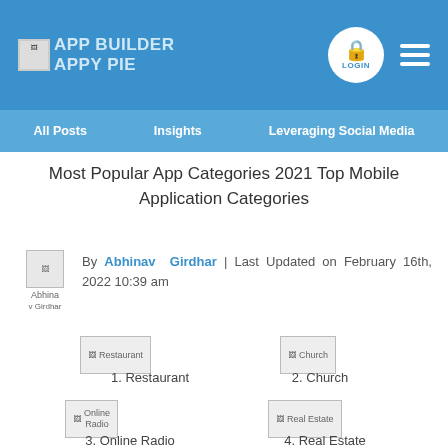APP BUILDER APPY PIE
All Posts | Insights | Leveraging Social Media
Most Popular App Categories 2021 Top Mobile Application Categories
By Abhinav Girdhar | Last Updated on February 16th, 2022 10:39 am
[Figure (illustration): Restaurant app thumbnail image]
1. Restaurant
[Figure (illustration): Church app thumbnail image]
2. Church
[Figure (illustration): Online Radio app thumbnail image]
3. Online Radio
[Figure (illustration): Real Estate app thumbnail image]
4. Real Estate